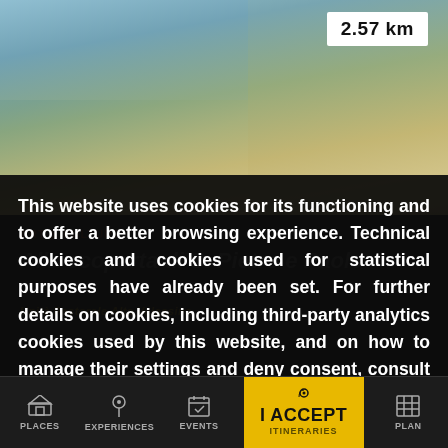[Figure (screenshot): Website screenshot showing a travel/tourism website with a photo of a town at the top, a cookie consent banner overlay in the middle, and a navigation bar at the bottom.]
2.57 km
This website uses cookies for its functioning and to offer a better browsing experience. Technical cookies and cookies used for statistical purposes have already been set. For further details on cookies, including third-party analytics cookies used by this website, and on how to manage their settings and deny consent, consult the Cookie Policy. By clicking I ACCEPT, you consent to the use of cookies.
ART & CULTURE
Alla scoperta di S. Pietro e Paolo
Unità Pastorale Alta Valassina
PLACES | EXPERIENCES | EVENTS | I ACCEPT ITINERARIES | PLAN